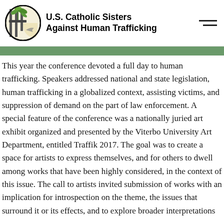U.S. Catholic Sisters Against Human Trafficking
This year the conference devoted a full day to human trafficking. Speakers addressed national and state legislation, human trafficking in a globalized context, assisting victims, and suppression of demand on the part of law enforcement. A special feature of the conference was a nationally juried art exhibit organized and presented by the Viterbo University Art Department, entitled Traffik 2017. The goal was to create a space for artists to express themselves, and for others to dwell among works that have been highly considered, in the context of this issue. The call to artists invited submission of works with an implication for introspection on the theme, the issues that surround it or its effects, and to explore broader interpretations